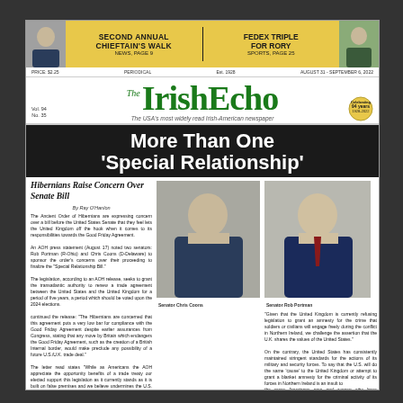SECOND ANNUAL CHIEFTAIN'S WALK NEWS, PAGE 5 | FEDEX TRIPLE FOR RORY SPORTS, PAGE 25
PRICE: $2.25   PERIODICAL   Est. 1928   AUGUST 31 - SEPTEMBER 6, 2022
The IrishEcho
The USA's most widely read Irish-American newspaper
More Than One 'Special Relationship'
Hibernians Raise Concern Over Senate Bill
By Ray O'Hanlon
The Ancient Order of Hibernians are expressing concern over a bill before the United States Senate that they feel lets the United Kingdom off the hook when it comes to its responsibilities towards the Good Friday Agreement. An AOH press statement (August 17) noted two senators: Rob Portman (R-Ohio) and Chris Coons (D-Delaware) to sponsor the order's concerns over their proceeding to finalize the 'Special Relationship Bill.' The legislation, according to an AOH release, seeks to grant the transatlantic authority to renew a trade agreement between the United States and the United Kingdom for a period of five years, a period which should be voted upon the 2024 elections. continued the release: "The Hibernians are concerned that this agreement puts a very low bar for compliance with the Good Friday Agreement despite earlier assurances from Congress, stating that any move by Britain which endangers the Good Friday Agreement, such as the creation of a British Internal border, would make preclude any possibility of a future U.S./U.K. trade deal."
[Figure (photo): Portrait photo of Senator Chris Coons]
[Figure (photo): Portrait photo of Senator Rob Portman]
Senator Chris Coons
Senator Rob Portman
"Given that the United Kingdom is currently refusing legislation to grant an amnesty for the crime that soldiers or civilians will engage freely during the conflict in Northern Ireland, we challenge the assertion that the U.K. shares the values of the United States." Continue on page 1